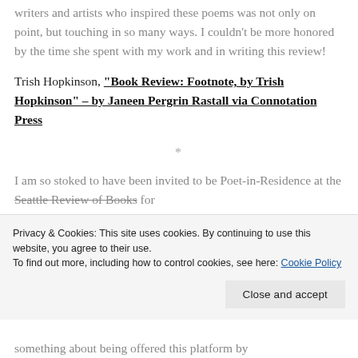writers and artists who inspired these poems was not only on point, but touching in so many ways. I couldn't be more honored by the time she spent with my work and in writing this review!
Trish Hopkinson, “Book Review: Footnote, by Trish Hopkinson” – by Janeen Pergrin Rastall via Connotation Press
*
I am so stoked to have been invited to be Poet-in-Residence at the Seattle Review of Books for
Privacy & Cookies: This site uses cookies. By continuing to use this website, you agree to their use.
To find out more, including how to control cookies, see here: Cookie Policy
Close and accept
something about being offered this platform by